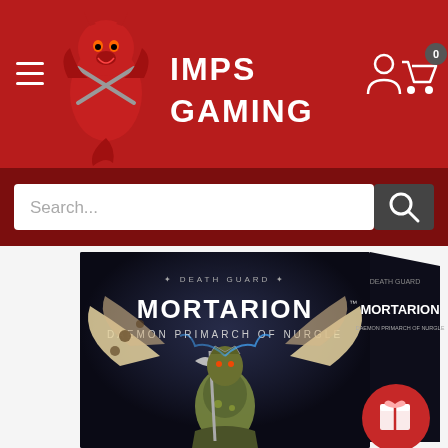[Figure (logo): Imps Gaming store header with red devil mascot logo and brand name 'IMPS GAMING' in white text on dark red background, with hamburger menu icon on left and user/cart icons on right]
[Figure (screenshot): Search bar with white input field showing placeholder text 'Search...' and dark grey search button with magnifying glass icon, on dark red background]
[Figure (photo): Product box image for 'Death Guard Mortarion Daemon Primarch of Nurgle' Warhammer 40K miniature set, showing box front and side, with large winged daemon figure on dark background, and a red circular gift button overlay in bottom right corner]